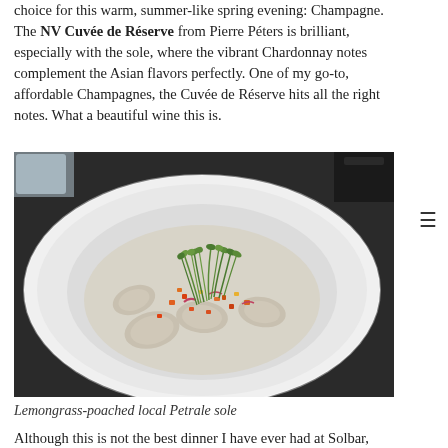choice for this warm, summer-like spring evening: Champagne. The NV Cuvée de Réserve from Pierre Péters is brilliant, especially with the sole, where the vibrant Chardonnay notes complement the Asian flavors perfectly. One of my go-to, affordable Champagnes, the Cuvée de Réserve hits all the right notes. What a beautiful wine this is.
[Figure (photo): A white plate with lemongrass-poached local Petrale sole, garnished with fresh microgreens on top and colorful diced vegetables scattered around the fish pieces, set on a dark table surface.]
Lemongrass-poached local Petrale sole
Although this is not the best dinner I have ever had at Solbar,